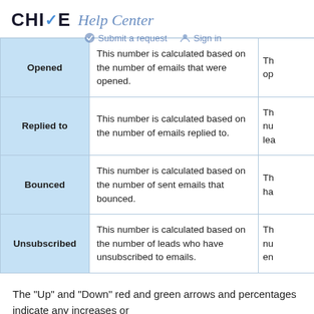CHIME Help Center
| Term | Description | Additional |
| --- | --- | --- |
| Opened | This number is calculated based on the number of emails that were opened. | Th... op... |
| Replied to | This number is calculated based on the number of emails replied to. | Th... nu... lea... |
| Bounced | This number is calculated based on the number of sent emails that bounced. | Th... ha... |
| Unsubscribed | This number is calculated based on the number of leads who have unsubscribed to emails. | Th... nu... en... |
The "Up" and "Down" red and green arrows and percentages indicate any increases or